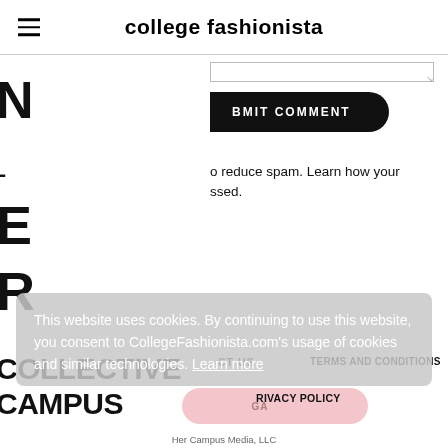college fashionista
BMIT COMMENT
o reduce spam. Learn how your
ssed.
This website uses cookies. By continuing to use this website, you consent to CollegeFashionista.com's usage of cookies and similar technologies. Learn more
COLLECTIVE
CT US
TERMS AND CONDITIONS
CAMPUS
RIVACY POLICY
Her Campus Media, LLC